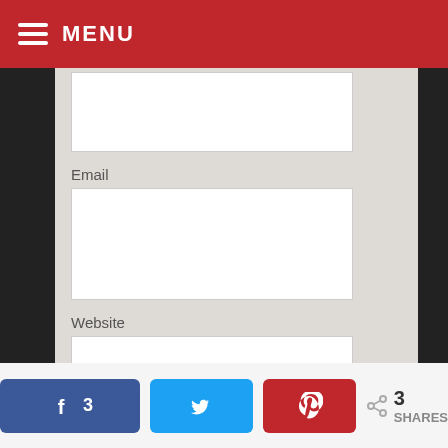MENU
Email
Website
Share My Comment
[Figure (screenshot): Social share bar at bottom with Facebook (3), Twitter, and Pinterest buttons, and a total share count of 3 SHARES]